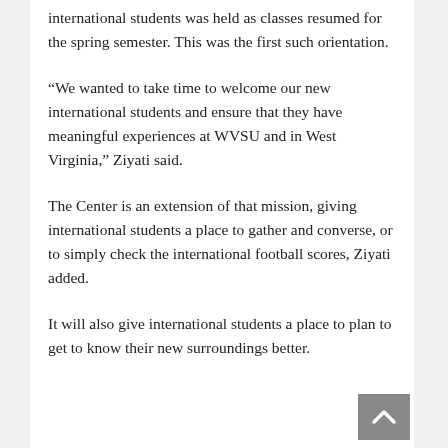international students was held as classes resumed for the spring semester. This was the first such orientation.
“We wanted to take time to welcome our new international students and ensure that they have meaningful experiences at WVSU and in West Virginia,” Ziyati said.
The Center is an extension of that mission, giving international students a place to gather and converse, or to simply check the international football scores, Ziyati added.
It will also give international students a place to plan to get to know their new surroundings better.